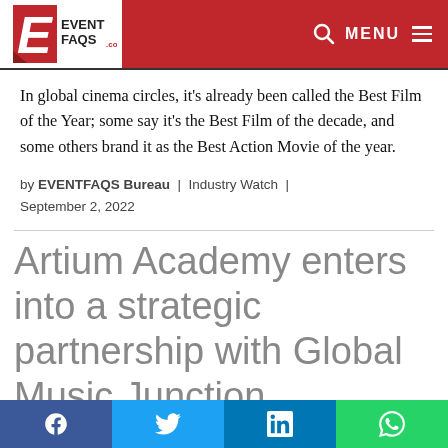EVENTFAQS.COM MENU
In global cinema circles, it’s already been called the Best Film of the Year; some say it’s the Best Film of the decade, and some others brand it as the Best Action Movie of the year.
by EVENTFAQS Bureau | Industry Watch | September 2, 2022
Artium Academy enters into a strategic partnership with Global Music Junction